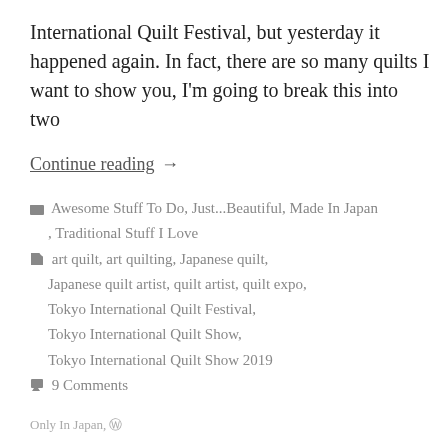International Quilt Festival, but yesterday it happened again. In fact, there are so many quilts I want to show you, I'm going to break this into two
Continue reading  →
🗂 Awesome Stuff To Do, Just...Beautiful, Made In Japan , Traditional Stuff I Love
🏷 art quilt, art quilting, Japanese quilt, Japanese quilt artist, quilt artist, quilt expo, Tokyo International Quilt Festival, Tokyo International Quilt Show, Tokyo International Quilt Show 2019
💬 9 Comments
Only In Japan, Ⓦ